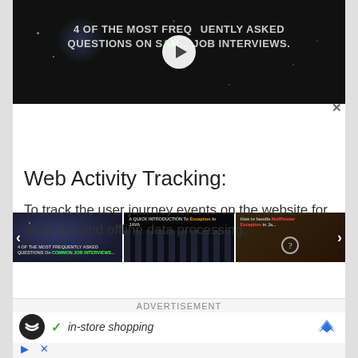[Figure (screenshot): Video player showing '4 OF THE MOST FREQUENTLY ASKED QUESTIONS ON SAM... JOB INTERVIEWS.' with play button overlay on dark background with particle effects]
[Figure (screenshot): Thumbnail strip with three video thumbnails: first showing text about frequently asked questions on job interviews, second showing keyboard/coding intro to Java, third showing how to handle exceptions with question mark icon]
Web Activity Tracking:
To track the user journey events on the website for analytics and offline data processing.
[Figure (screenshot): Advertisement banner showing in-store shopping ad with dark circular logo, checkmark, shopping text, blue wing logo, and play/close controls]